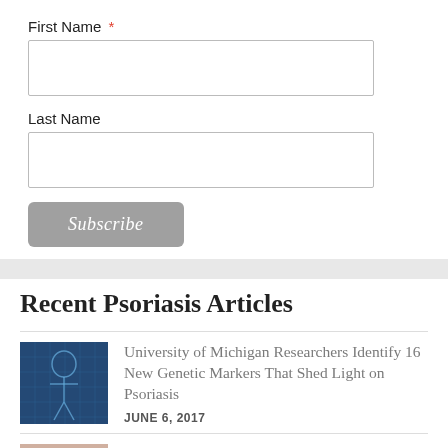First Name *
Last Name
Subscribe
Recent Psoriasis Articles
[Figure (photo): Thumbnail image of a digital human figure with blue network/data overlay background]
University of Michigan Researchers Identify 16 New Genetic Markers That Shed Light on Psoriasis
JUNE 6, 2017
[Figure (photo): Thumbnail image of skin with a red label reading 'PSORIASIS']
OWCP and mediq Collaborate to Introduce Cannabinoid-based Psoriasis Cream in Germany